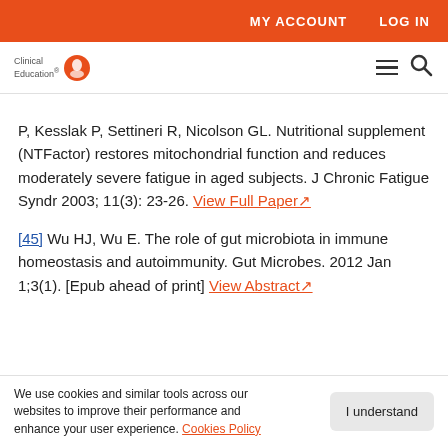MY ACCOUNT    LOG IN
[Figure (logo): Clinical Education logo with orange circle icon and text]
P, Kesslak P, Settineri R, Nicolson GL. Nutritional supplement (NTFactor) restores mitochondrial function and reduces moderately severe fatigue in aged subjects. J Chronic Fatigue Syndr 2003; 11(3): 23-26. View Full Paper
[45] Wu HJ, Wu E. The role of gut microbiota in immune homeostasis and autoimmunity. Gut Microbes. 2012 Jan 1;3(1). [Epub ahead of print] View Abstract
We use cookies and similar tools across our websites to improve their performance and enhance your user experience. Cookies Policy